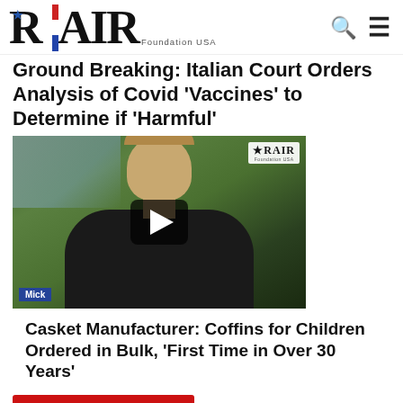RAIR Foundation USA
Ground Breaking: Italian Court Orders Analysis of Covid 'Vaccines' to Determine if 'Harmful'
[Figure (screenshot): Video thumbnail showing a man in a dark shirt outdoors with trees in background, RAIR Foundation USA watermark, play button overlay, and 'Mick' name label]
Casket Manufacturer: Coffins for Children Ordered in Bulk, 'First Time in Over 30 Years'
DONATE